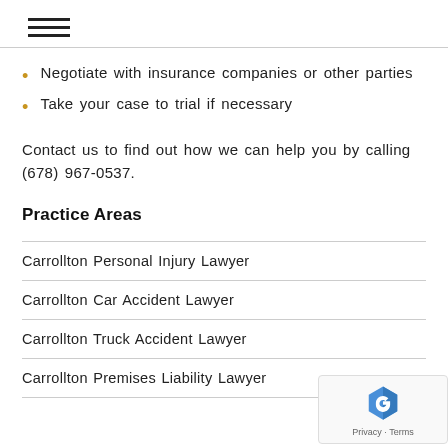hamburger menu icon
Negotiate with insurance companies or other parties
Take your case to trial if necessary
Contact us to find out how we can help you by calling (678) 967-0537.
Practice Areas
Carrollton Personal Injury Lawyer
Carrollton Car Accident Lawyer
Carrollton Truck Accident Lawyer
Carrollton Premises Liability Lawyer